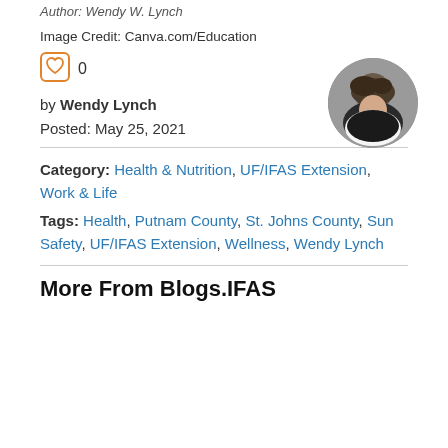Author: Wendy W. Lynch
Image Credit: Canva.com/Education
0
by Wendy Lynch
[Figure (photo): Circular profile photo of Wendy Lynch, a woman with dark hair wearing a black jacket]
Posted: May 25, 2021
Category: Health & Nutrition, UF/IFAS Extension, Work & Life
Tags: Health, Putnam County, St. Johns County, Sun Safety, UF/IFAS Extension, Wellness, Wendy Lynch
More From Blogs.IFAS